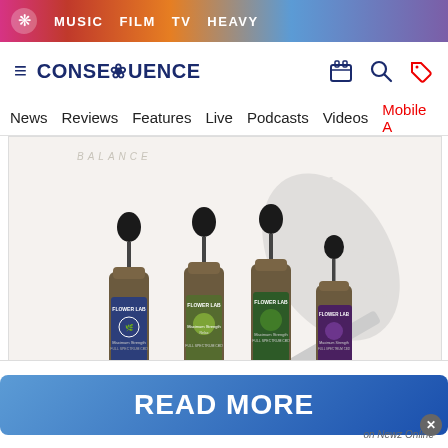MUSIC  FILM  TV  HEAVY
[Figure (logo): Consequence of Sound website header with hamburger menu, logo CONSEQUENCE, and icons for shop, search, and sale tag]
News  Reviews  Features  Live  Podcasts  Videos  Mobile A
[Figure (photo): Four Flower Lab CBD oil dropper bottles in dark amber glass: one navy blue label, one olive green label, one dark green label, one purple label, all labeled Maximum Strength Full Spectrum CBD, with a dropper lying in front on white background. Watermark text BALANCE in background.]
READ MORE
on Newz Online